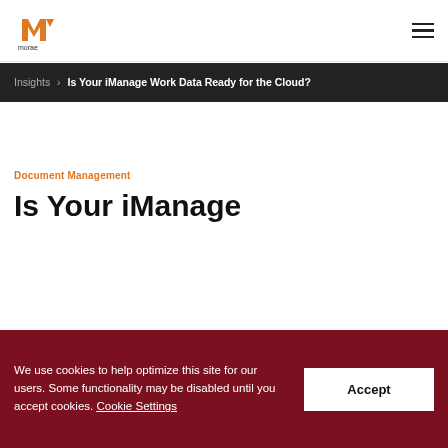Morae logo | navigation hamburger menu
Insights > Is Your iManage Work Data Ready for the Cloud?
Document Management
Is Your iManage
We use cookies to help optimize this site for our users. Some functionality may be disabled until you accept cookies. Cookie Settings
Accept